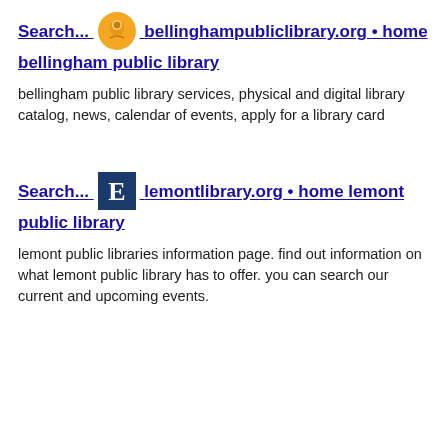Search... bellinghampubliclibrary.org • home bellingham public library
bellingham public library services, physical and digital library catalog, news, calendar of events, apply for a library card
Search... lemontlibrary.org • home lemont public library
lemont public libraries information page. find out information on what lemont public library has to offer. you can search our current and upcoming events.